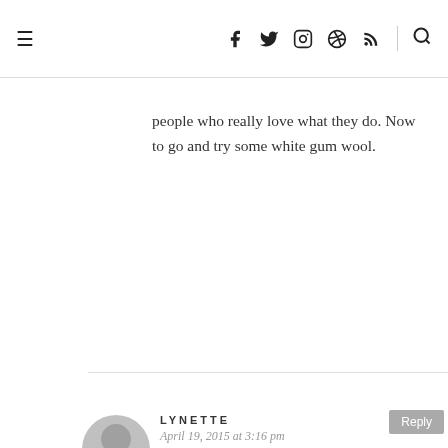≡   f  t  ☷  ◉  ☞   🔍
people who really love what they do. Now to go and try some white gum wool.
LYNETTE
April 19, 2015 at 3:16 pm
I loved hearing about how Nan got her start on her farm. Hard work definitely pays off! It makes me appreciate wool so much more.
HOLLY DUGAN
April 19, 2015 at 5:17 pm
Thank you for another inspiring